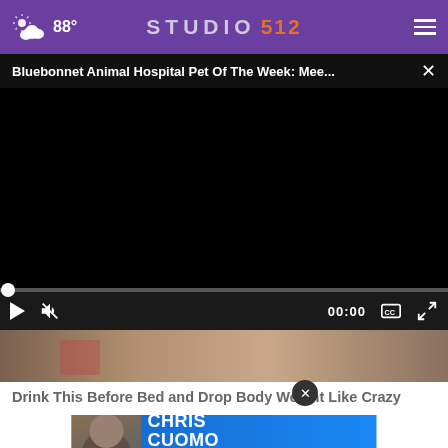88° STUDIO 512
Bluebonnet Animal Hospital Pet Of The Week: Mee...
[Figure (screenshot): Black video player area with scrubber bar at bottom showing 0:00 timestamp and controls (play, mute, captions, fullscreen)]
[Figure (photo): Partial view of a photo strip showing muted tan/brown tones, appears to be an animal or indoor scene]
Drink This Before Bed and Drop Body Weight Like Crazy
Health
[Figure (infographic): Advertisement banner for Chris Cuomo Coming This Fall to NewsNation - Find Your Channel]